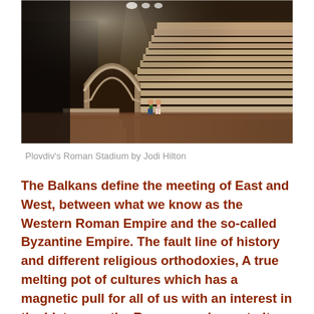[Figure (photo): Interior view of Plovdiv's Roman Stadium showing ancient stone seating tiers, a large arched structure, and two visitors standing on the sandy floor under dramatic lighting.]
Plovdiv's Roman Stadium by Jodi Hilton
The Balkans define the meeting of East and West, between what we know as the Western Roman Empire and the so-called Byzantine Empire. The fault line of history and different religious orthodoxies, A true melting pot of cultures which has a magnetic pull for all of us with an interest in the history on the Roman empire up to its final fall in 1453. Plovdiv, or ancient Philippopolis, in one of those cities that played a key